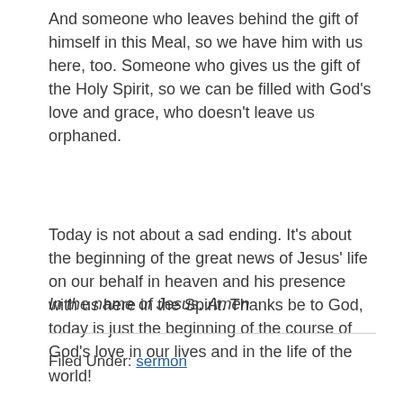And someone who leaves behind the gift of himself in this Meal, so we have him with us here, too.  Someone who gives us the gift of the Holy Spirit, so we can be filled with God's love and grace, who doesn't leave us orphaned.
Today is not about a sad ending.  It's about the beginning of the great news of Jesus' life on our behalf in heaven and his presence with us here in the Spirit.  Thanks be to God, today is just the beginning of the course of God's love in our lives and in the life of the world!
In the name of Jesus.  Amen
Filed Under: sermon